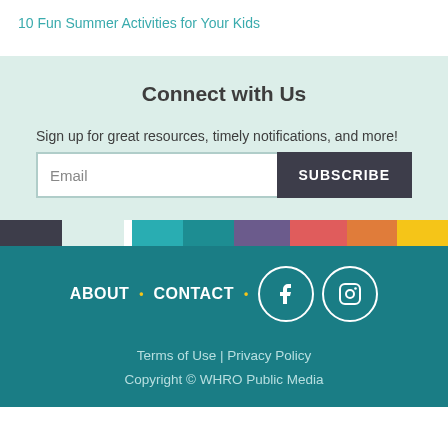10 Fun Summer Activities for Your Kids
Connect with Us
Sign up for great resources, timely notifications, and more!
Email  SUBSCRIBE
ABOUT • CONTACT • [Facebook] [Instagram]
Terms of Use | Privacy Policy
Copyright © WHRO Public Media